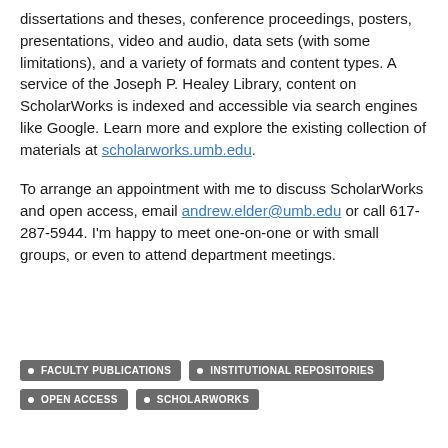dissertations and theses, conference proceedings, posters, presentations, video and audio, data sets (with some limitations), and a variety of formats and content types. A service of the Joseph P. Healey Library, content on ScholarWorks is indexed and accessible via search engines like Google. Learn more and explore the existing collection of materials at scholarworks.umb.edu.
To arrange an appointment with me to discuss ScholarWorks and open access, email andrew.elder@umb.edu or call 617-287-5944. I'm happy to meet one-on-one or with small groups, or even to attend department meetings.
FACULTY PUBLICATIONS
INSTITUTIONAL REPOSITORIES
OPEN ACCESS
SCHOLARWORKS